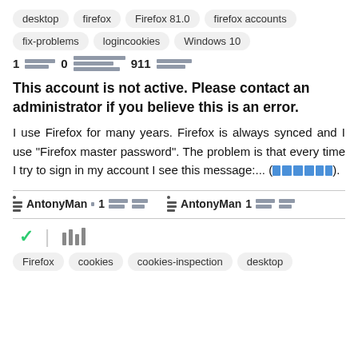desktop  firefox  Firefox 81.0  firefox accounts
fix-problems  logincookies  Windows 10
1 [blurred] 0 [blurred] 911 [blurred]
This account is not active. Please contact an administrator if you believe this is an error.
I use Firefox for many years. Firefox is always synced and I use "Firefox master password". The problem is that every time I try to sign in my account I see this message:... ([link])
AntonyMan 1 [blurred]  AntonyMan 1 [blurred]
[Figure (other): Check mark icon and library/stack icon]
Firefox  cookies  cookies-inspection  desktop